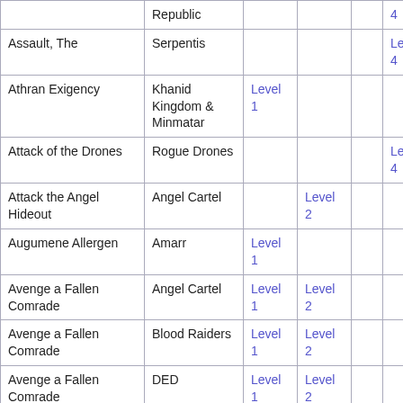| Name | Faction | Level 1 | Level 2 | Level 3 | Level 4 |
| --- | --- | --- | --- | --- | --- |
|  | Republic |  |  |  | 4 |
| Assault, The | Serpentis |  |  |  | Level 4 |
| Athran Exigency | Khanid Kingdom & Minmatar | Level 1 |  |  |  |
| Attack of the Drones | Rogue Drones |  |  |  | Level 4 |
| Attack the Angel Hideout | Angel Cartel |  | Level 2 |  |  |
| Augumene Allergen | Amarr | Level 1 |  |  |  |
| Avenge a Fallen Comrade | Angel Cartel | Level 1 | Level 2 |  |  |
| Avenge a Fallen Comrade | Blood Raiders | Level 1 | Level 2 |  |  |
| Avenge a Fallen Comrade | DED | Level 1 | Level 2 |  |  |
| Avenge a Fallen Comrade | Guristas Pirates | Level 1 | Level 2 |  |  |
| Avenge a Fallen | Serpentis | Level 1 | Level |  |  |